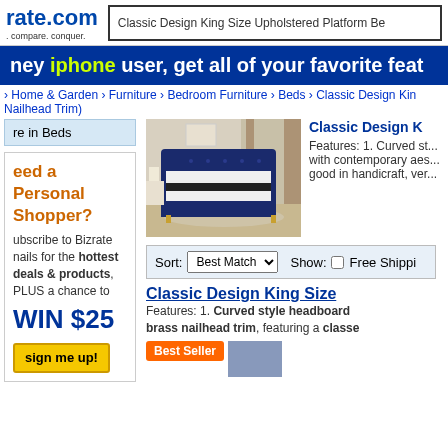rate.com search: Classic Design King Size Upholstered Platform Be...
hey iphone user, get all of your favorite feat...
> Home & Garden > Furniture > Bedroom Furniture > Beds > Classic Design Kin... Nailhead Trim)
re in Beds
eed a Personal Shopper? Subscribe to Bizrate emails for the hottest deals & products, PLUS a chance to WIN $25 sign me up!
[Figure (photo): Blue velvet king size upholstered platform bed in a bedroom setting]
Classic Design K... Features: 1. Curved st... with contemporary aes... good in handicraft, ver...
Sort: Best Match  Show: [ ] Free Shippi...
Classic Design King Size
Features: 1. Curved style headboard brass nailhead trim, featuring a classe...
Best Seller